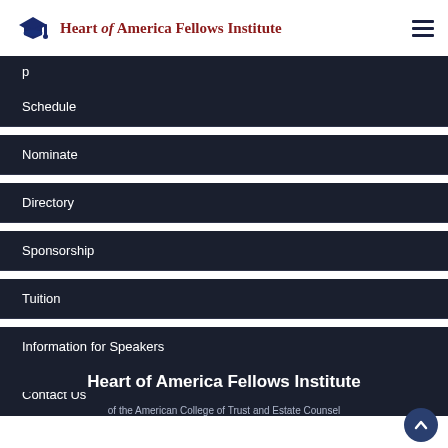Heart of America Fellows Institute
Schedule
Nominate
Directory
Sponsorship
Tuition
Information for Speakers
Contact Us
Heart of America Fellows Institute
of the American College of Trust and Estate Counsel